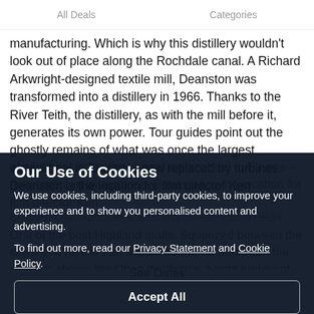All Deals   Categories
manufacturing. Which is why this distillery wouldn't look out of place along the Rochdale canal. A Richard Arkwright-designed textile mill, Deanston was transformed into a distillery in 1966. Thanks to the River Teith, the distillery, as with the mill before it, generates its own power. Tour guides point out the ghostly remains of what was once the largest waterwheel in Europe – now replaced by turbines. Deanston is the location for film director Ken ... minutes.
Our Use of Cookies
We use cookies, including third-party cookies, to improve your experience and to show you personalised content and advertising.
To find out more, read our Privacy Statement and Cookie Policy.
Accept All
Reject All
My Options